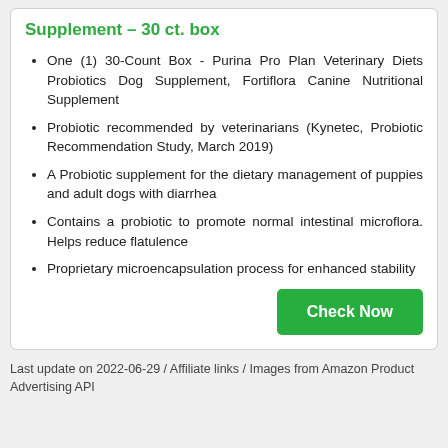Supplement – 30 ct. box
One (1) 30-Count Box - Purina Pro Plan Veterinary Diets Probiotics Dog Supplement, Fortiflora Canine Nutritional Supplement
Probiotic recommended by veterinarians (Kynetec, Probiotic Recommendation Study, March 2019)
A Probiotic supplement for the dietary management of puppies and adult dogs with diarrhea
Contains a probiotic to promote normal intestinal microflora. Helps reduce flatulence
Proprietary microencapsulation process for enhanced stability
Last update on 2022-06-29 / Affiliate links / Images from Amazon Product Advertising API